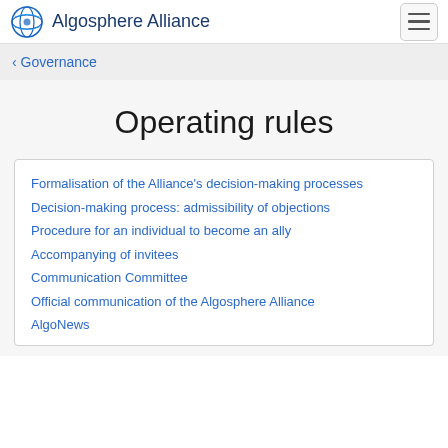Algosphere Alliance
< Governance
Operating rules
Formalisation of the Alliance’s decision-making processes
Decision-making process: admissibility of objections
Procedure for an individual to become an ally
Accompanying of invitees
Communication Committee
Official communication of the Algosphere Alliance
AlgoNews